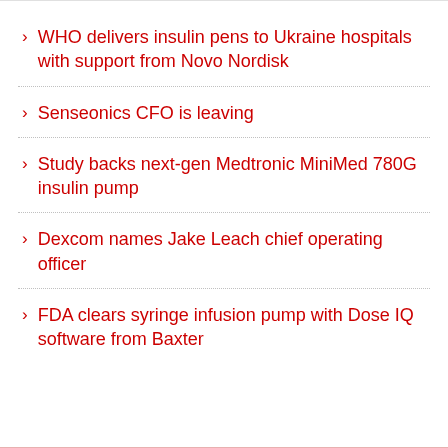WHO delivers insulin pens to Ukraine hospitals with support from Novo Nordisk
Senseonics CFO is leaving
Study backs next-gen Medtronic MiniMed 780G insulin pump
Dexcom names Jake Leach chief operating officer
FDA clears syringe infusion pump with Dose IQ software from Baxter